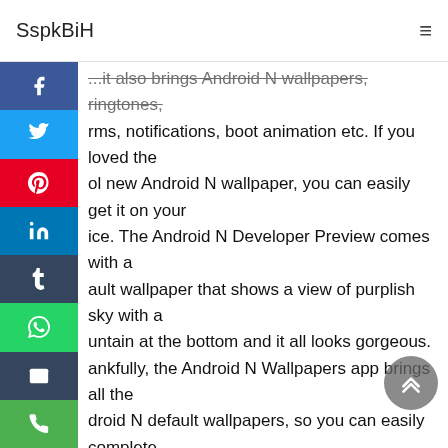SspkBiH
...it also brings Android N wallpapers, ringtones, rms, notifications, boot animation etc. If you loved the ol new Android N wallpaper, you can easily get it on your ice. The Android N Developer Preview comes with a ault wallpaper that shows a view of purplish sky with a untain at the bottom and it all looks gorgeous. ankfully, the Android N Wallpapers app brings all the droid N default wallpapers, so you can easily complete r device's Android N look.
also I put full-time work into Nova Launcher and can ord to do that thanks to sales of Nova Launcher Prime. If apps were free and open source and not making money, I would need a paying full time job and not have the s resources to devote to Nova. If you like it, I'd definitely consider buying it. I've had the free version for months now